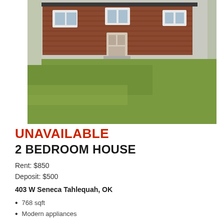[Figure (photo): Exterior photo of a single-story brick house with green lawn and concrete driveway on the right side]
UNAVAILABLE
2 BEDROOM HOUSE
Rent: $850
Deposit: $500
403 W Seneca Tahlequah, OK
768 sqft
Modern appliances